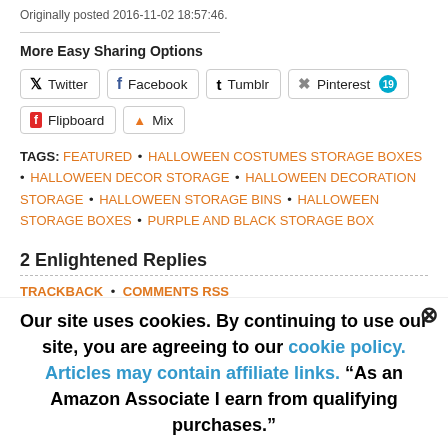Originally posted 2016-11-02 18:57:46.
More Easy Sharing Options
Twitter • Facebook • Tumblr • Pinterest 19 • Flipboard • Mix
TAGS: FEATURED • HALLOWEEN COSTUMES STORAGE BOXES • HALLOWEEN DECOR STORAGE • HALLOWEEN DECORATION STORAGE • HALLOWEEN STORAGE BINS • HALLOWEEN STORAGE BOXES • PURPLE AND BLACK STORAGE BOX
2 Enlightened Replies
TRACKBACK • COMMENTS RSS
Our site uses cookies. By continuing to use our site, you are agreeing to our cookie policy. Articles may contain affiliate links. "As an Amazon Associate I earn from qualifying purchases."